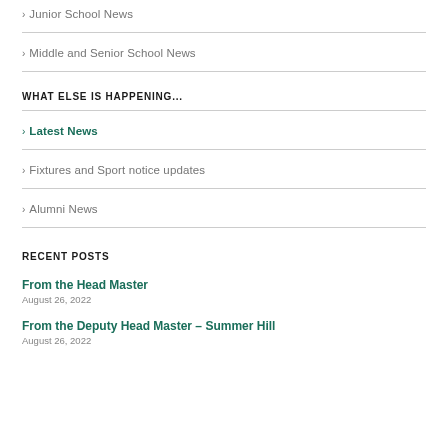› Junior School News
› Middle and Senior School News
WHAT ELSE IS HAPPENING...
› Latest News
› Fixtures and Sport notice updates
› Alumni News
RECENT POSTS
From the Head Master
August 26, 2022
From the Deputy Head Master – Summer Hill
August 26, 2022